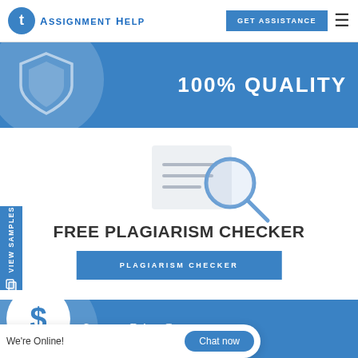TAssignmentHelp | GET ASSISTANCE
[Figure (infographic): Blue banner with shield icon and text 100% QUALITY]
[Figure (illustration): Magnifying glass over document icon for plagiarism checker]
FREE PLAGIARISM CHECKER
PLAGIARISM CHECKER
[Figure (infographic): Blue banner with dollar sign circle and Lowest Price Guarantee text]
Lowest Price Guarantee
View Samples
We're Online! Chat now